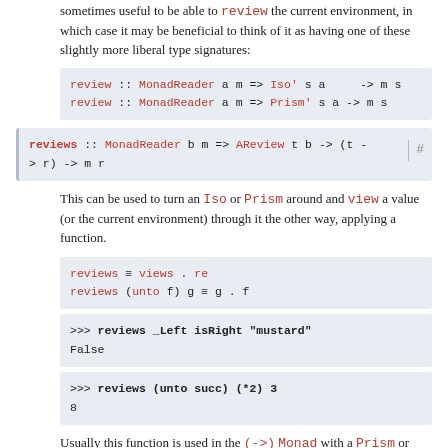sometimes useful to be able to review the current environment, in which case it may be beneficial to think of it as having one of these slightly more liberal type signatures:
[Figure (screenshot): Code block showing two type signatures for review with MonadReader]
[Figure (screenshot): Code block showing type signature for reviews :: MonadReader b m => AReview t b -> (t -> r) -> m r with hash link]
This can be used to turn an Iso or Prism around and view a value (or the current environment) through it the other way, applying a function.
[Figure (screenshot): Code block: reviews ≡ views . re / reviews (unto f) g ≡ g . f]
[Figure (screenshot): Code block: >>> reviews _Left isRight "mustard" / False]
[Figure (screenshot): Code block: >>> reviews (unto succ) (*2) 3 / 8]
Usually this function is used in the (-> ) Monad with a Prism or Iso, in which case it may be useful to think of it as having one of these more restricted type signatures: